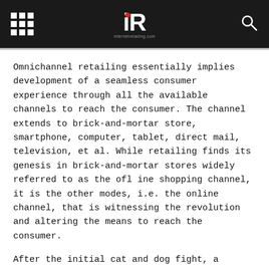IR (internetretailing.com)
Omnichannel retailing essentially implies development of a seamless consumer experience through all the available channels to reach the consumer. The channel extends to brick-and-mortar store, smartphone, computer, tablet, direct mail, television, et al. While retailing finds its genesis in brick-and-mortar stores widely referred to as the offline shopping channel, it is the other modes, i.e. the online channel, that is witnessing the revolution and altering the means to reach the consumer.
After the initial cat and dog fight, a realisation is setting in that each channel has its fair share of challenges and opportunities and adopting the right combination of the omnichannel retailing is the way forward. We delve further to understand why omni-channel retailing is an idea whose time has come.